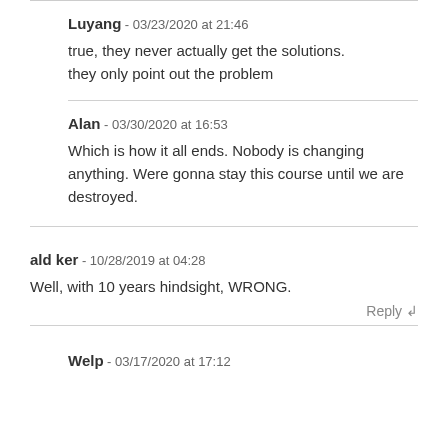Luyang - 03/23/2020 at 21:46
true, they never actually get the solutions. they only point out the problem
Alan - 03/30/2020 at 16:53
Which is how it all ends. Nobody is changing anything. Were gonna stay this course until we are destroyed.
ald ker - 10/28/2019 at 04:28
Well, with 10 years hindsight, WRONG.
Welp - 03/17/2020 at 17:12